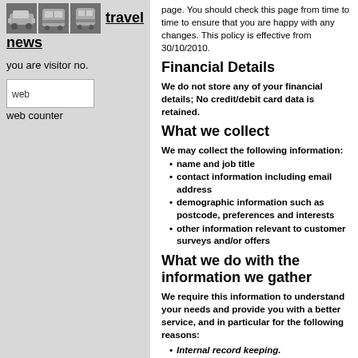travel news
you are visitor no.
[Figure (other): web counter image placeholder labelled 'web']
web counter
page. You should check this page from time to time to ensure that you are happy with any changes. This policy is effective from 30/10/2010.
Financial Details
We do not store any of your financial details; No credit/debit card data is retained.
What we collect
We may collect the following information:
name and job title
contact information including email address
demographic information such as postcode, preferences and interests
other information relevant to customer surveys and/or offers
What we do with the information we gather
We require this information to understand your needs and provide you with a better service, and in particular for the following reasons:
Internal record keeping.